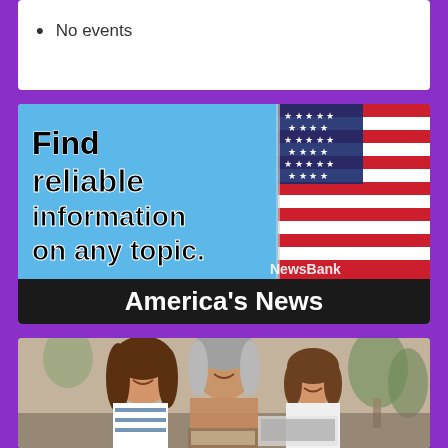No events
[Figure (illustration): NewsBank advertisement banner: 'Find reliable information on any topic.' with American flag image and 'America's News' subtitle on dark banner]
[Figure (photo): Three women (young adult, older woman, and child) smiling together looking at camera, family photo scene]